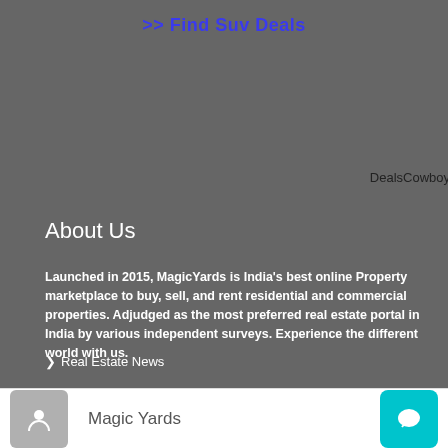>> Find Suv Deals
DealsCowboy
About Us
Launched in 2015, MagicYards is India's best online Property marketplace to buy, sell, and rent residential and commercial properties. Adjudged as the most preferred real estate portal in India by various independent surveys. Experience the different world with us.
> Real Estate News
Magic Yards